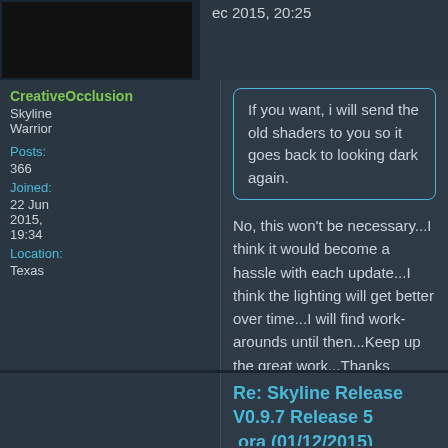ec 2015, 20:25
CreativeOcclusion
Skyline Warrior
Posts: 366
Joined: 22 Jun 2015, 19:34
Location: Texas
If you want, i will send the old shaders to you so it goes back to looking dark again.
No, this won't be necessary...I think it would become a hassle with each update...I think the lighting will get better over time...I will find work-arounds until then...Keep up the great work...Thanks
Thanks, CreativeOcclusion
Re: Skyline Release V0.9.7 Release 5 ora (01/12/2015)
ire » 02 Dec 6
[Figure (logo): Purple rounded square logo with white S arrow symbol and 'Dev' label at bottom]
a quick play and the ambient section of the Uber shader fails when outside the lights cone of influence
StarFire